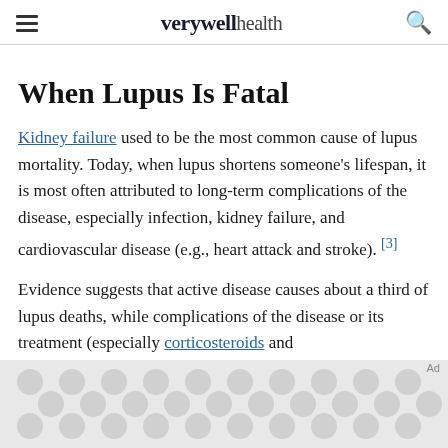verywell health
When Lupus Is Fatal
Kidney failure used to be the most common cause of lupus mortality. Today, when lupus shortens someone's lifespan, it is most often attributed to long-term complications of the disease, especially infection, kidney failure, and cardiovascular disease (e.g., heart attack and stroke). [3]
Evidence suggests that active disease causes about a third of lupus deaths, while complications of the disease or its treatment (especially corticosteroids and immunosuppressants) cause about two-thirds of lupus deaths. [4]
[Figure (other): Advertisement placeholder with decorative circular dot pattern on grey background]